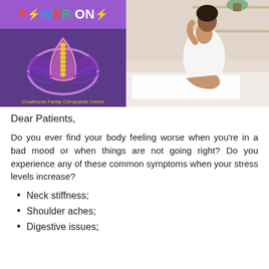[Figure (logo): Crowthorne Family Chiropractic Centre logo with POWER ON text and lotus/spine graphic on purple background, alongside a photo of a woman sitting on a bed holding her neck]
Dear Patients,
Do you ever find your body feeling worse when you're in a bad mood or when things are not going right? Do you experience any of these common symptoms when your stress levels increase?
Neck stiffness;
Shoulder aches;
Digestive issues;